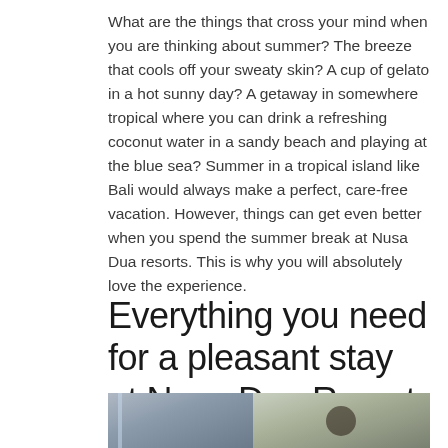What are the things that cross your mind when you are thinking about summer? The breeze that cools off your sweaty skin? A cup of gelato in a hot sunny day? A getaway in somewhere tropical where you can drink a refreshing coconut water in a sandy beach and playing at the blue sea? Summer in a tropical island like Bali would always make a perfect, care-free vacation. However, things can get even better when you spend the summer break at Nusa Dua resorts. This is why you will absolutely love the experience.
Everything you need for a pleasant stay at Nusa Dua Resort
[Figure (photo): Two-panel photo showing a resort scene: left panel with water/shower feature, right panel with a person (woman) at a desk or table in an indoor/outdoor setting.]